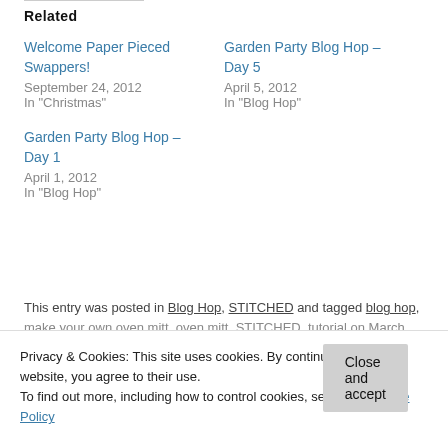Related
Welcome Paper Pieced Swappers!
September 24, 2012
In "Christmas"
Garden Party Blog Hop – Day 5
April 5, 2012
In "Blog Hop"
Garden Party Blog Hop – Day 1
April 1, 2012
In "Blog Hop"
This entry was posted in Blog Hop, STITCHED and tagged blog hop, make your own oven mitt, oven mitt, STITCHED, tutorial on March…
Privacy & Cookies: This site uses cookies. By continuing to use this website, you agree to their use.
To find out more, including how to control cookies, see here: Cookie Policy
Close and accept